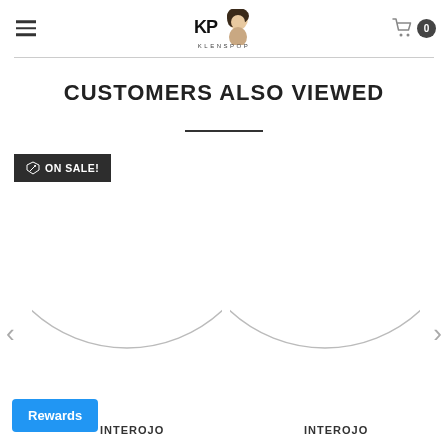KLENSPOP — navigation header with hamburger menu and cart icon showing 0 items
CUSTOMERS ALSO VIEWED
ON SALE!
[Figure (screenshot): Two partial product circle images (contact lens packaging) shown in a carousel with left and right navigation arrows. Both labeled INTEROJO at the bottom.]
INTEROJO
INTEROJO
Rewards